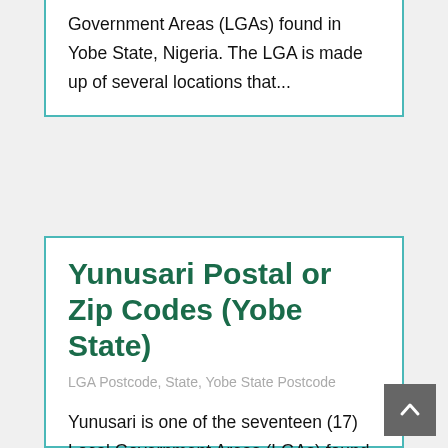Government Areas (LGAs) found in Yobe State, Nigeria. The LGA is made up of several locations that...
Yunusari Postal or Zip Codes (Yobe State)
LGA Postcode, State, Yobe State Postcode
Yunusari is one of the seventeen (17) Local Government Areas (LGAs) found in Yobe State, Nigeria. The LGA is made up of several locations that...